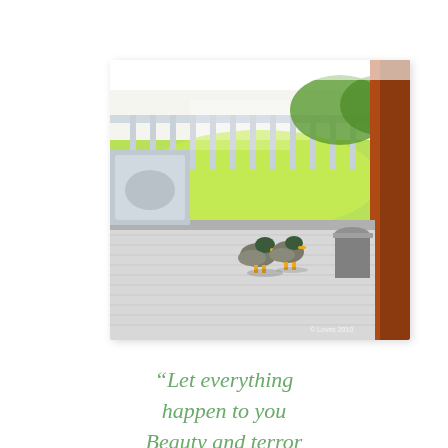[Figure (photo): View from inside a house looking through an open sliding glass door (with orange/brown door frame on right) onto a wooden deck where two mallard ducks are standing. Beyond the deck is a bright green lawn and a white railing fence. A metal pot or container is visible on the right side of the deck.]
“Let everything happen to you Beauty and terror